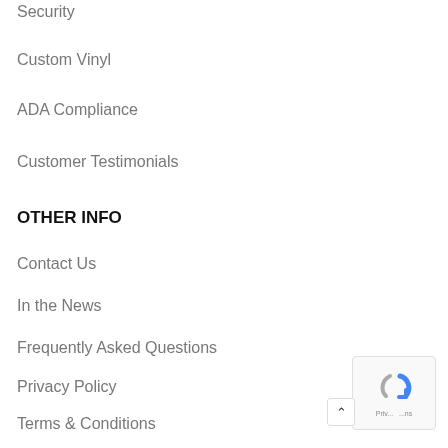Security
Custom Vinyl
ADA Compliance
Customer Testimonials
OTHER INFO
Contact Us
In the News
Frequently Asked Questions
Privacy Policy
Terms & Conditions
ASC W9 Form
ASC Sitemap